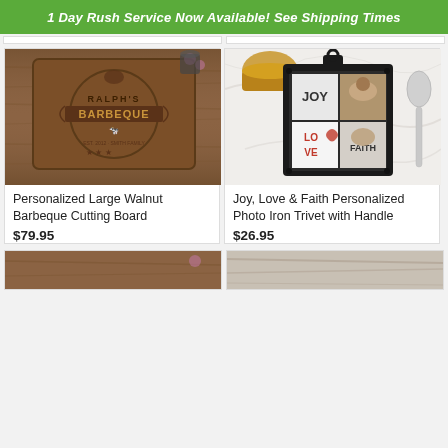1 Day Rush Service Now Available! See Shipping Times
[Figure (photo): Personalized walnut barbeque cutting board with engraved Ralph's Barbeque logo on wood background]
Personalized Large Walnut Barbeque Cutting Board
$79.95
[Figure (photo): Joy Love Faith personalized photo iron trivet with handle on white marble background with spoon]
Joy, Love & Faith Personalized Photo Iron Trivet with Handle
$26.95
[Figure (photo): Bottom left product image partial view]
[Figure (photo): Bottom right product image partial view]